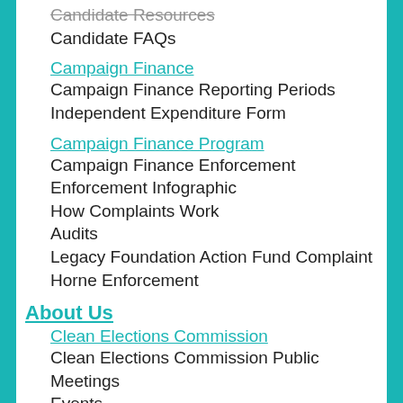Candidate Resources
Candidate FAQs
Campaign Finance
Campaign Finance Reporting Periods
Independent Expenditure Form
Campaign Finance Program
Campaign Finance Enforcement
Enforcement Infographic
How Complaints Work
Audits
Legacy Foundation Action Fund Complaint
Horne Enforcement
About Us
Clean Elections Commission
Clean Elections Commission Public Meetings
Events
Our Team
Former Commissioners
What is a "Clean Election?"
Publications
Legislation & Rules
Rule Making
R2-20-113
R2-20-780